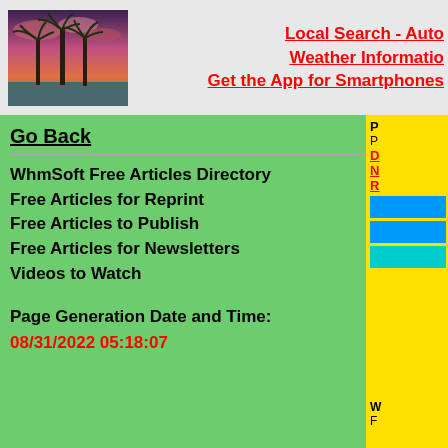Local Search - Auto | Weather Information | Get the App for Smartphones
[Figure (photo): Palm trees silhouetted against a colorful sunset sky]
Go Back
WhmSoft Free Articles Directory
Free Articles for Reprint
Free Articles to Publish
Free Articles for Newsletters
Videos to Watch
Page Generation Date and Time:
08/31/2022 05:18:07